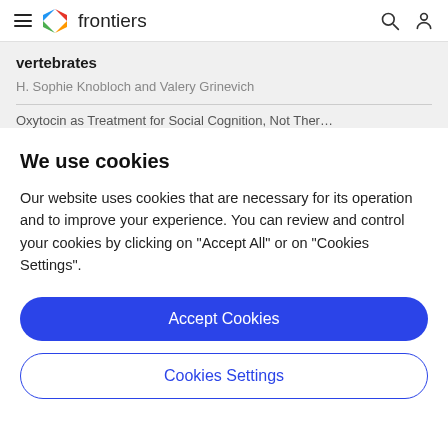frontiers
vertebrates
H. Sophie Knobloch and Valery Grinevich
Oxytocin as Treatment for Social Cognition, Not Ther...
We use cookies
Our website uses cookies that are necessary for its operation and to improve your experience. You can review and control your cookies by clicking on "Accept All" or on "Cookies Settings".
Accept Cookies
Cookies Settings